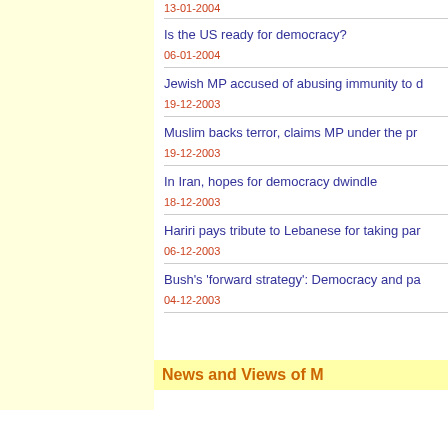13-01-2004
Is the US ready for democracy?
06-01-2004
Jewish MP accused of abusing immunity to d
19-12-2003
Muslim backs terror, claims MP under the pr
19-12-2003
In Iran, hopes for democracy dwindle
18-12-2003
Hariri pays tribute to Lebanese for taking par
06-12-2003
Bush's 'forward strategy': Democracy and pa
04-12-2003
News and Views of M